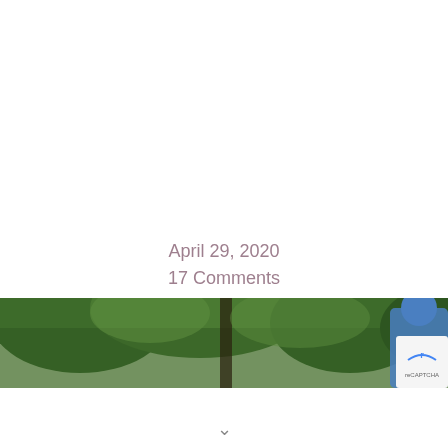April 29, 2020
17 Comments
SHARE
[Figure (infographic): Row of social media share buttons: Facebook (blue), Twitter (light blue), LinkedIn (teal/blue), Pinterest (dark red), Reddit (orange), Tumblr (dark navy), Blogger/Email (gray)]
[Figure (photo): Partial photo strip showing trees with green foliage and a partial reCAPTCHA badge on the right side]